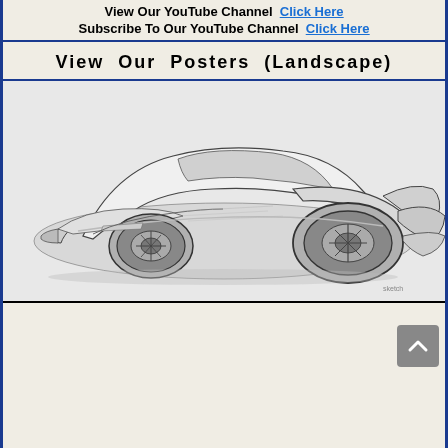View Our YouTube Channel  Click Here
Subscribe To Our YouTube Channel  Click Here
View  Our  Posters  (Landscape)
[Figure (illustration): Pencil sketch illustration of a futuristic custom concept car, shown in a 3/4 front-left view. The car has a very low, streamlined body with dramatic wheel cutouts, a curved windshield, and swooping bodywork suggesting a mid-century American concept car design.]